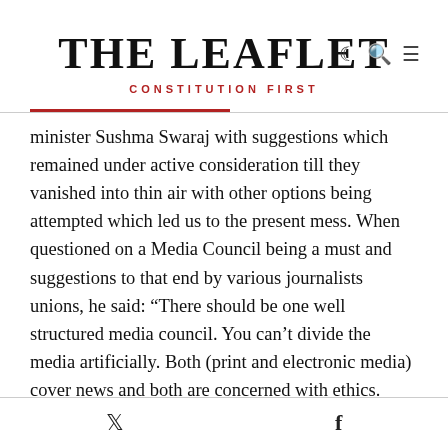THE LEAFLET
CONSTITUTION FIRST
minister Sushma Swaraj with suggestions which remained under active consideration till they vanished into thin air with other options being attempted which led us to the present mess. When questioned on a Media Council being a must and suggestions to that end by various journalists unions, he said: “There should be one well structured media council. You can’t divide the media artificially. Both (print and electronic media) cover news and both are concerned with ethics. What will happen if contrary adjudications are given by two councils? It could lead to chaos. The doubts of some persons are misconceived; 17 countries have media councils now. Perhaps
Twitter  Facebook